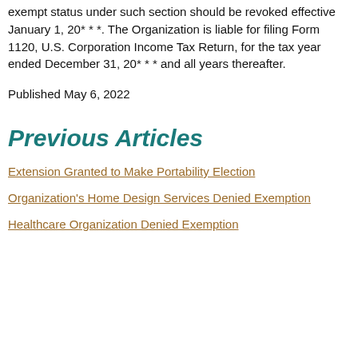exempt status under such section should be revoked effective January 1, 20* * *. The Organization is liable for filing Form 1120, U.S. Corporation Income Tax Return, for the tax year ended December 31, 20* * * and all years thereafter.
Published May 6, 2022
Previous Articles
Extension Granted to Make Portability Election
Organization's Home Design Services Denied Exemption
Healthcare Organization Denied Exemption